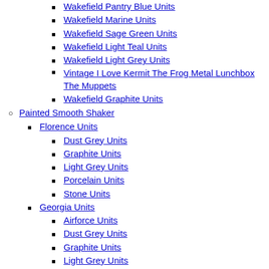Wakefield Pantry Blue Units
Wakefield Marine Units
Wakefield Sage Green Units
Wakefield Light Teal Units
Wakefield Light Grey Units
Vintage I Love Kermit The Frog Metal Lunchbox The Muppets
Wakefield Graphite Units
Painted Smooth Shaker
Florence Units
Dust Grey Units
Graphite Units
Light Grey Units
Porcelain Units
Stone Units
Georgia Units
Airforce Units
Dust Grey Units
Graphite Units
Light Grey Units
Marine Units
Mussel Units
Pantry Blue Units
Porcelain Units
Stone Units